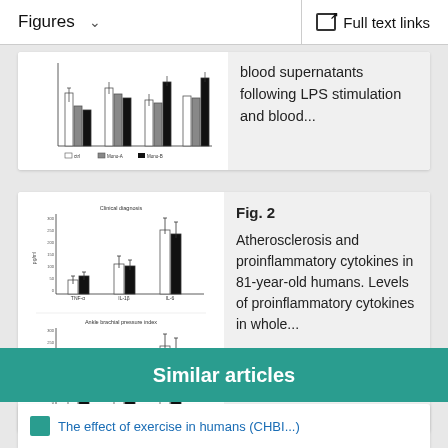Figures  ∨    Full text links
[Figure (grouped-bar-chart): Grouped bar chart showing cytokine levels across groups, partially cut off at top]
blood supernatants following LPS stimulation and blood...
[Figure (grouped-bar-chart): Two grouped bar charts: top shows Clinical diagnosis with TNF-α, IL-1β, IL-6; bottom shows Ankle brachial pressure index with same cytokines. White and black bars compared.]
Fig. 2 Atherosclerosis and proinflammatory cytokines in 81-year-old humans. Levels of proinflammatory cytokines in whole...